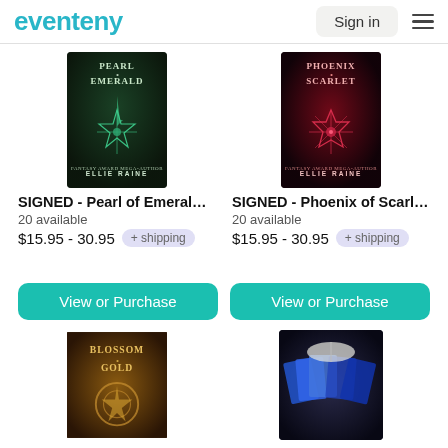eventeny | Sign in
[Figure (photo): Book cover: Pearl of Emerald by Ellie Raine]
SIGNED - Pearl of Emeral…
20 available
$15.95 - 30.95 + shipping
[Figure (photo): Book cover: Phoenix of Scarlet by Ellie Raine]
SIGNED - Phoenix of Scarl…
20 available
$15.95 - 30.95 + shipping
View or Purchase
View or Purchase
[Figure (photo): Book cover: Blossom of Gold]
[Figure (photo): Collection of books spread out]